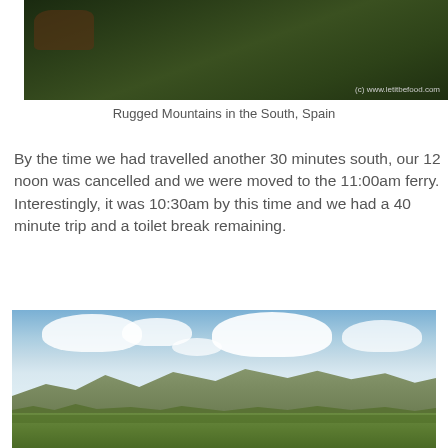[Figure (photo): Top portion of a photo showing rugged mountains with dense dark green forest/vegetation in southern Spain. Copyright watermark reads (c) www.letitbefood.com]
Rugged Mountains in the South, Spain
By the time we had travelled another 30 minutes south, our 12 noon was cancelled and we were moved to the 11:00am ferry. Interestingly, it was 10:30am by this time and we had a 40 minute trip and a toilet break remaining.
[Figure (photo): Wide landscape photo of rugged mountains in southern Spain with green valleys in the foreground, forested hillsides, and a partly cloudy blue sky above.]